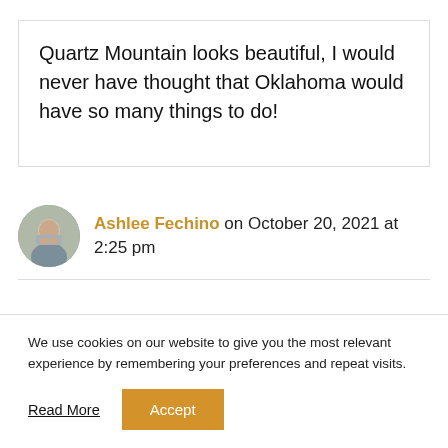Quartz Mountain looks beautiful, I would never have thought that Oklahoma would have so many things to do!
Ashlee Fechino on October 20, 2021 at 2:25 pm
We use cookies on our website to give you the most relevant experience by remembering your preferences and repeat visits.
Read More
Accept